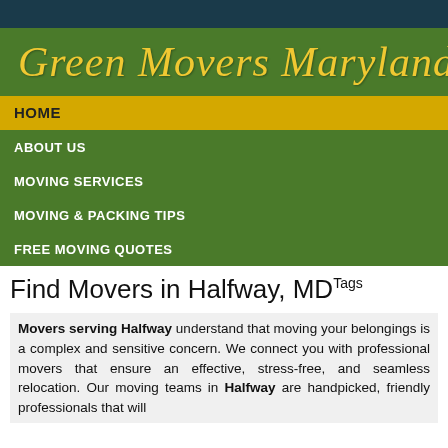Green Movers Maryland
HOME
ABOUT US
MOVING SERVICES
MOVING & PACKING TIPS
FREE MOVING QUOTES
Find Movers in Halfway, MDTags
Movers serving Halfway understand that moving your belongings is a complex and sensitive concern. We connect you with professional movers that ensure an effective, stress-free, and seamless relocation. Our moving teams in Halfway are handpicked, friendly professionals that will